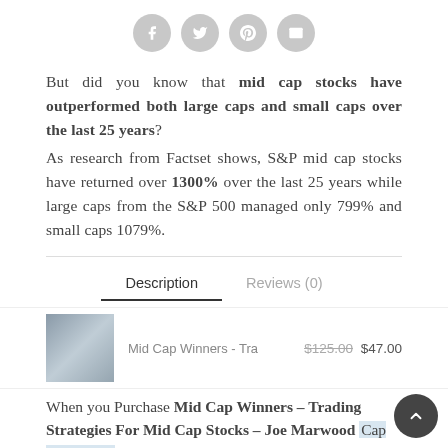[Figure (other): Social media sharing icons: Facebook, Twitter, Pinterest, Email – grey circles with white icons]
But did you know that mid cap stocks have outperformed both large caps and small caps over the last 25 years? As research from Factset shows, S&P mid cap stocks have returned over 1300% over the last 25 years while large caps from the S&P 500 managed only 799% and small caps 1079%.
Description
Reviews (0)
Mid Cap Winners - Tra
$125.00 $47.00
When you Purchase Mid Cap Winners – Trading Strategies For Mid Cap Stocks – Joe Marwood We